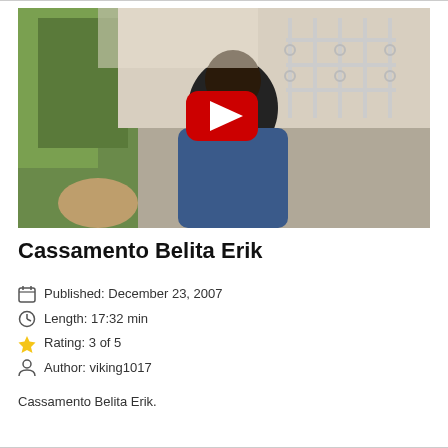[Figure (screenshot): Video thumbnail showing a person in a blue shirt standing outside a building with iron window bars and a tree visible. A YouTube-style red play button is overlaid in the center.]
Cassamento Belita Erik
Published: December 23, 2007
Length: 17:32 min
Rating: 3 of 5
Author: viking1017
Cassamento Belita Erik.